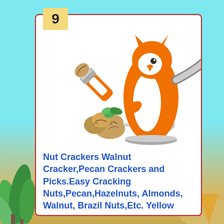[Figure (photo): Product photo of squirrel-shaped nut cracker tea kettle in orange with chrome spout and handle, a nut cracker tool holding a walnut, walnuts with green leaves, and a silver spoon on white background]
9
Nut Crackers Walnut Cracker,Pecan Crackers and Picks.Easy Cracking Nuts,Pecan,Hazelnuts, Almonds, Walnut, Brazil Nuts,Etc. Yellow